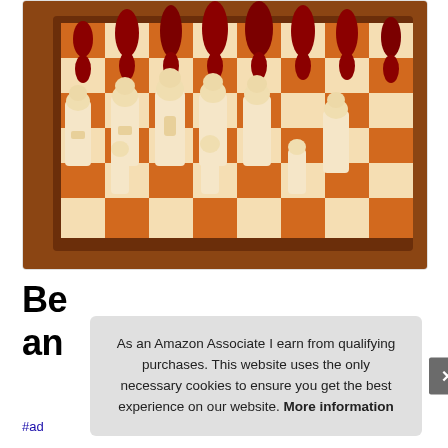[Figure (photo): A decorative chess set with ivory-colored medieval figurine pieces (Lewis chessmen style) arranged on a wooden chessboard with dark red/maroon opposing pieces in the background.]
Be... an...
As an Amazon Associate I earn from qualifying purchases. This website uses the only necessary cookies to ensure you get the best experience on our website. More information
#ad